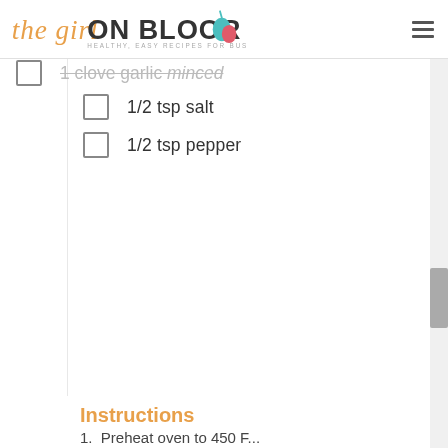the girl ON BLOOR - HEALTHY, EASY RECIPES FOR BUSY PEOPLE!
1 clove garlic minced
1/2 tsp salt
1/2 tsp pepper
Instructions
1. Preheat oven to 450 F...